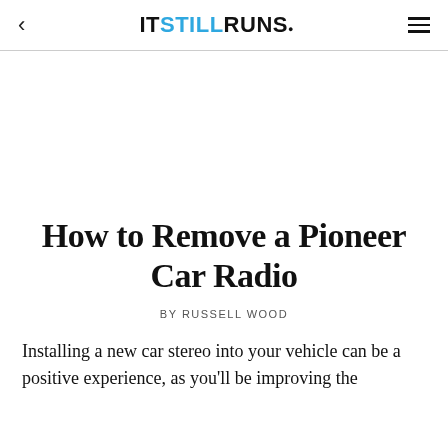< ITSTILLRUNS. ≡
How to Remove a Pioneer Car Radio
BY RUSSELL WOOD
Installing a new car stereo into your vehicle can be a positive experience, as you'll be improving the